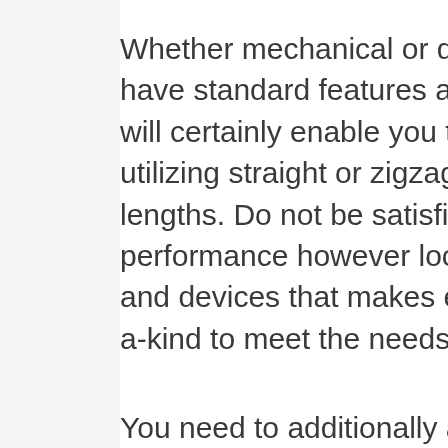Whether mechanical or digital, every one will certainly have standard features as well as stitch functions that will certainly enable you to sew a range of materials utilizing straight or zigzag stitches and also stitch lengths. Do not be satisfied with the fundamental performance however look past to the extra features and devices that makes each sewing machine one-of-a-kind to meet the needs you will certainly place on it.
You need to additionally ask just how powerful the motor is, the number of stitches per min, and also exactly how it is developed. The motor is the life of any kind of stitching maker. You do not wish to